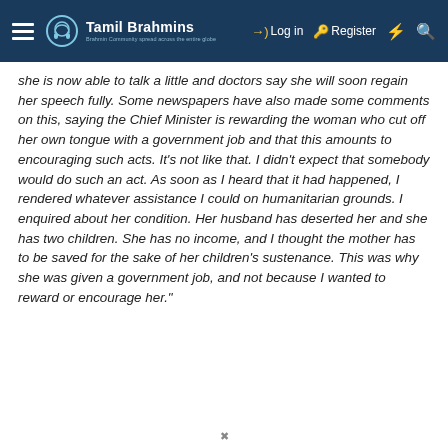Tamil Brahmins — Log in | Register
she is now able to talk a little and doctors say she will soon regain her speech fully. Some newspapers have also made some comments on this, saying the Chief Minister is rewarding the woman who cut off her own tongue with a government job and that this amounts to encouraging such acts. It's not like that. I didn't expect that somebody would do such an act. As soon as I heard that it had happened, I rendered whatever assistance I could on humanitarian grounds. I enquired about her condition. Her husband has deserted her and she has two children. She has no income, and I thought the mother has to be saved for the sake of her children's sustenance. This was why she was given a government job, and not because I wanted to reward or encourage her."